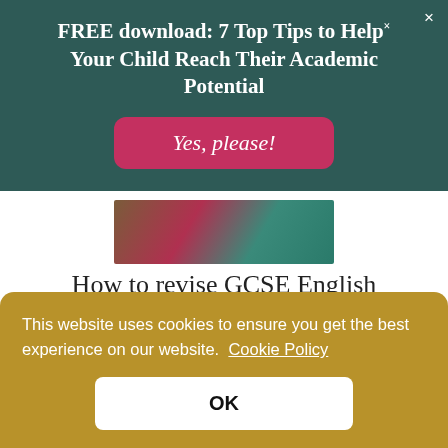FREE download: 7 Top Tips to Help Your Child Reach Their Academic Potential
[Figure (screenshot): Pink CTA button labeled 'Yes, please!' on dark teal background, with a close (×) button in the top right]
[Figure (photo): Partial photo of stacked books or notebooks in brown, red, and teal colors]
How to revise GCSE English with 7 weeks to go
This website uses cookies to ensure you get the best experience on our website. Cookie Policy
OK